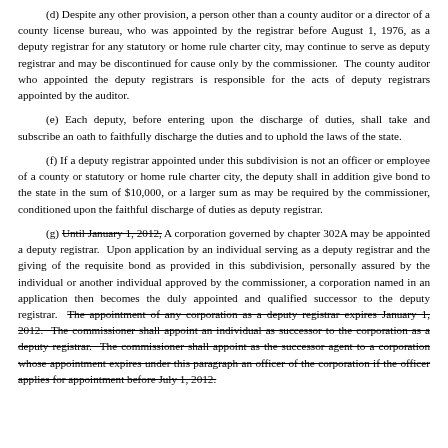(d) Despite any other provision, a person other than a county auditor or a director of a county license bureau, who was appointed by the registrar before August 1, 1976, as a deputy registrar for any statutory or home rule charter city, may continue to serve as deputy registrar and may be discontinued for cause only by the commissioner. The county auditor who appointed the deputy registrars is responsible for the acts of deputy registrars appointed by the auditor.
(e) Each deputy, before entering upon the discharge of duties, shall take and subscribe an oath to faithfully discharge the duties and to uphold the laws of the state.
(f) If a deputy registrar appointed under this subdivision is not an officer or employee of a county or statutory or home rule charter city, the deputy shall in addition give bond to the state in the sum of $10,000, or a larger sum as may be required by the commissioner, conditioned upon the faithful discharge of duties as deputy registrar.
(g) Until January 1, 2012, A corporation governed by chapter 302A may be appointed a deputy registrar. Upon application by an individual serving as a deputy registrar and the giving of the requisite bond as provided in this subdivision, personally assured by the individual or another individual approved by the commissioner, a corporation named in an application then becomes the duly appointed and qualified successor to the deputy registrar. The appointment of any corporation as a deputy registrar expires January 1, 2012. The commissioner shall appoint an individual as successor to the corporation as a deputy registrar. The commissioner shall appoint as the successor agent to a corporation whose appointment expires under this paragraph an officer of the corporation if the officer applies for appointment before July 1, 2012.